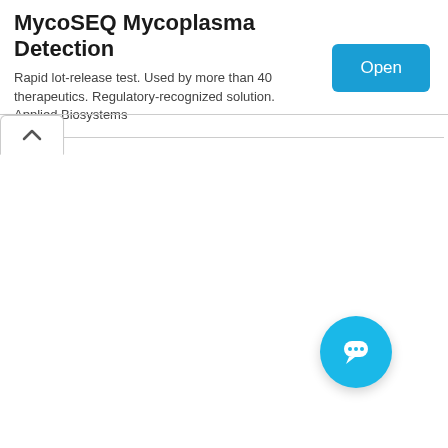[Figure (screenshot): Advertisement banner for MycoSEQ Mycoplasma Detection by Applied Biosystems. Contains title, body text, Open button, ad attribution icon, and close X.]
MycoSEQ Mycoplasma Detection
Rapid lot-release test. Used by more than 40 therapeutics. Regulatory-recognized solution. Applied Biosystems
[Figure (other): Tab/accordion toggle button with an upward-pointing caret chevron icon]
[Figure (other): Circular chat/message bubble button in cyan/blue color positioned at bottom right]